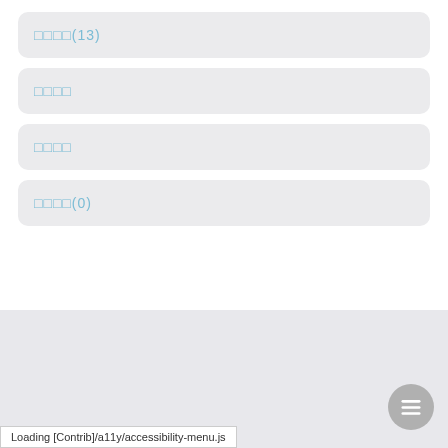□□□□(13)
□□□□
□□□□
□□□□(0)
watermark / blurred background text
Loading [Contrib]/a11y/accessibility-menu.js